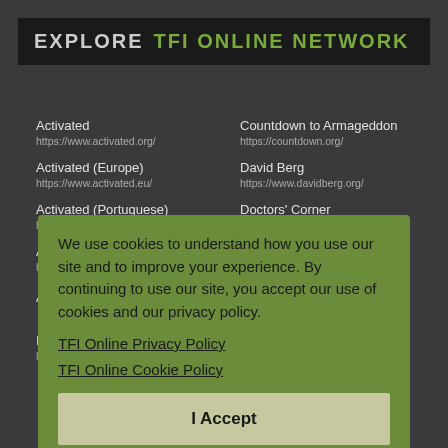EXPLORE  TFI ONLINE NETWORK
Activated
https://www.activated.org/
Countdown to Armageddon
https://countdown.org/
Activated (Europe)
https://www.activated.eu/
David Berg
https://www.davidberg.org/
Activated (Portuguese)
https://...
Doctors' Corner
https://...doctorscorner.com/
Activated (Spanish)
https://...
Karen Zerby
https://...karenzerby.org/
Anchor
My Wonder Studio
https://www.mywonderstudio.com/
International
https://...
TFI Podcasts
https://podcasts...tfionline.com/
TFI on Facebook
We use cookies to understand how you use our site and to improve your experience. By continuing to use our site, you accept our use of cookies and our privacy policy.
TFI Online Privacy Policy
TFI Online Cookie Policy
I Accept